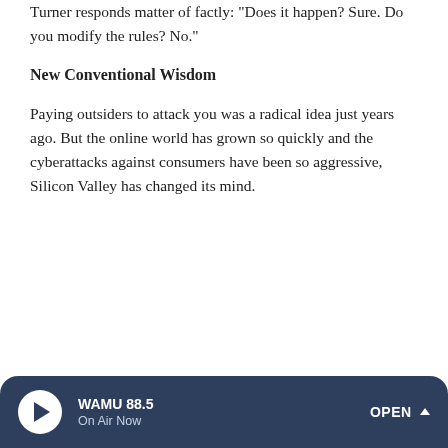Turner responds matter of factly: "Does it happen? Sure. Do you modify the rules? No."
New Conventional Wisdom
Paying outsiders to attack you was a radical idea just years ago. But the online world has grown so quickly and the cyberattacks against consumers have been so aggressive, Silicon Valley has changed its mind.
WAMU 88.5 On Air Now OPEN